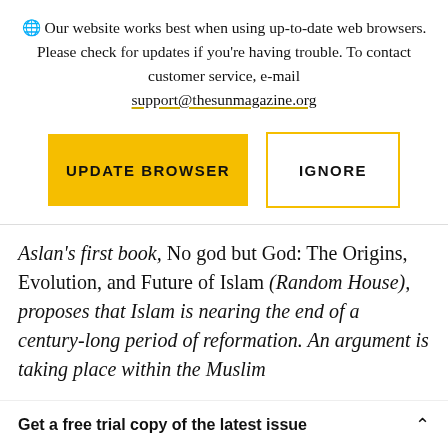Our website works best when using up-to-date web browsers. Please check for updates if you're having trouble. To contact customer service, e-mail support@thesunmagazine.org
[Figure (other): Two buttons: a yellow filled button labeled UPDATE BROWSER and a yellow-outlined white button labeled IGNORE]
Aslan's first book, No god but God: The Origins, Evolution, and Future of Islam (Random House), proposes that Islam is nearing the end of a century-long period of reformation. An argument is taking place within the Muslim
Get a free trial copy of the latest issue